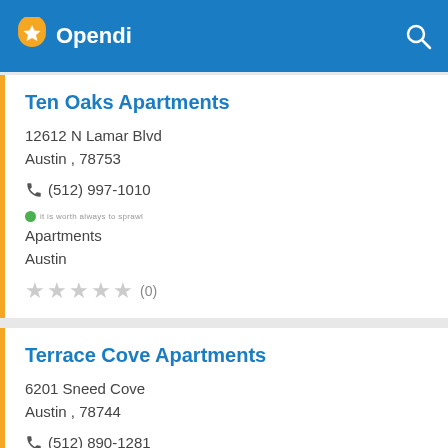Opendi
Ten Oaks Apartments
12612 N Lamar Blvd
Austin , 78753
(512) 997-1010
Apartments
Austin
(0)
Terrace Cove Apartments
6201 Sneed Cove
Austin , 78744
(512) 890-1281